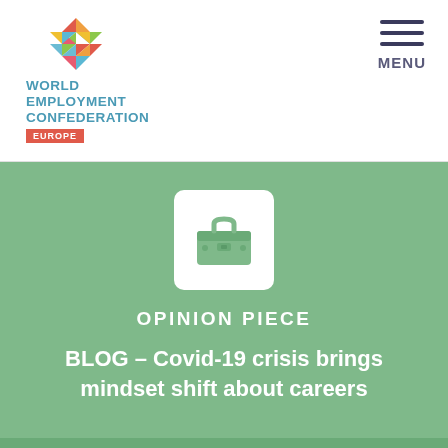[Figure (logo): World Employment Confederation Europe logo with colorful globe graphic]
MENU
[Figure (illustration): Briefcase icon in white on green background]
OPINION PIECE
BLOG – Covid-19 crisis brings mindset shift about careers